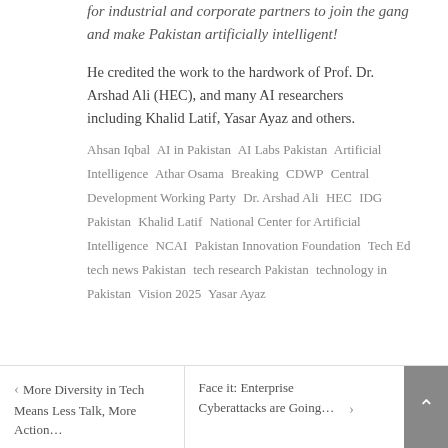for industrial and corporate partners to join the gang and make Pakistan artificially intelligent!
He credited the work to the hardwork of Prof. Dr. Arshad Ali (HEC), and many AI researchers including Khalid Latif, Yasar Ayaz and others.
Ahsan Iqbal  AI in Pakistan  AI Labs Pakistan  Artificial Intelligence  Athar Osama  Breaking  CDWP  Central Development Working Party  Dr. Arshad Ali  HEC  IDG Pakistan  Khalid Latif  National Center for Artificial Intelligence  NCAI  Pakistan Innovation Foundation  Tech Ed  tech news Pakistan  tech research Pakistan  technology in Pakistan  Vision 2025  Yasar Ayaz
◂ More Diversity in Tech Means Less Talk, More Action…
Face it: Enterprise Cyberattacks are Going… ▸